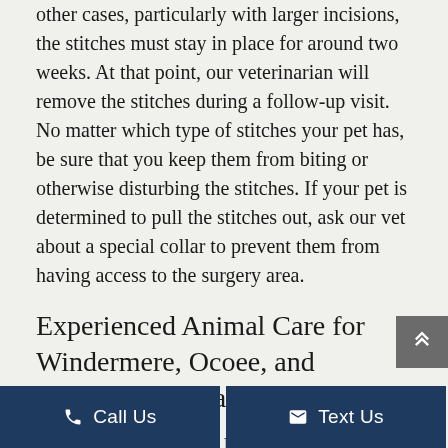other cases, particularly with larger incisions, the stitches must stay in place for around two weeks. At that point, our veterinarian will remove the stitches during a follow-up visit. No matter which type of stitches your pet has, be sure that you keep them from biting or otherwise disturbing the stitches. If your pet is determined to pull the stitches out, ask our vet about a special collar to prevent them from having access to the surgery area.
Experienced Animal Care for Windermere, Ocoee, and Orlando FL Area Pets
Winter Garden Animal Hospital is a Winter Garden, Florida pet hospital that serves pet owners in Windermere, Ocoee, and all of the Orlando Fl area. We're proud to provide quick...